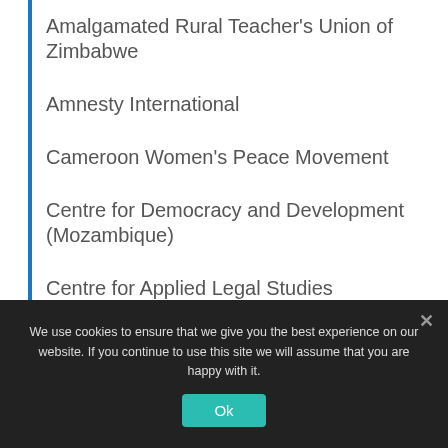Amalgamated Rural Teacher's Union of Zimbabwe
Amnesty International
Cameroon Women's Peace Movement
Centre for Democracy and Development (Mozambique)
Centre for Applied Legal Studies
We use cookies to ensure that we give you the best experience on our website. If you continue to use this site we will assume that you are happy with it.